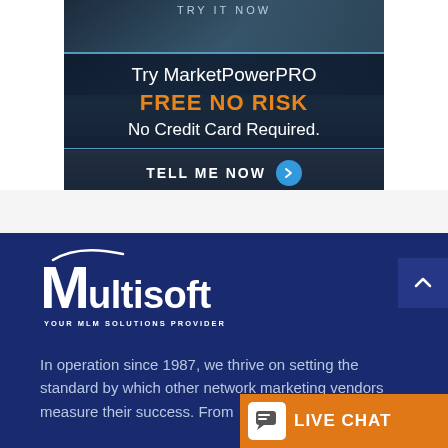[Figure (screenshot): MarketPowerPRO advertisement banner with text: Try MarketPowerPRO FREE NO RISK No Credit Card Required. TELL ME NOW button with arrow circle]
[Figure (logo): Multisoft logo - YOUR MLM SOLUTIONS PROVIDER - white text on dark blue background with swoosh accent]
In operation since 1987, we thrive on setting the standard by which other network marketing vendors measure their success. From
[Figure (screenshot): Orange LIVE CHAT button in bottom right corner with chat icon]